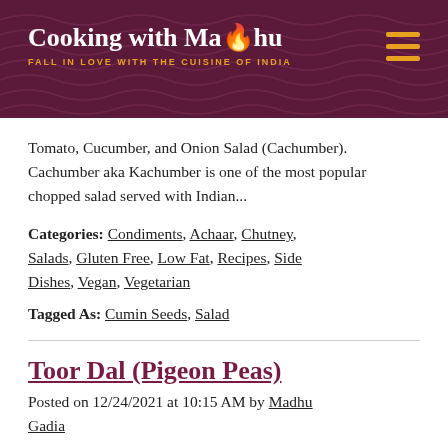Cooking with Madhu — FALL IN LOVE WITH THE CUISINE OF INDIA
Tomato, Cucumber, and Onion Salad (Cachumber). Cachumber aka Kachumber is one of the most popular chopped salad served with Indian...
Categories: Condiments, Achaar, Chutney, Salads, Gluten Free, Low Fat, Recipes, Side Dishes, Vegan, Vegetarian
Tagged As: Cumin Seeds, Salad
Toor Dal (Pigeon Peas)
Posted on 12/24/2021 at 10:15 AM by Madhu Gadia
[Figure (photo): Partial photo of Toor Dal dish at bottom of page]